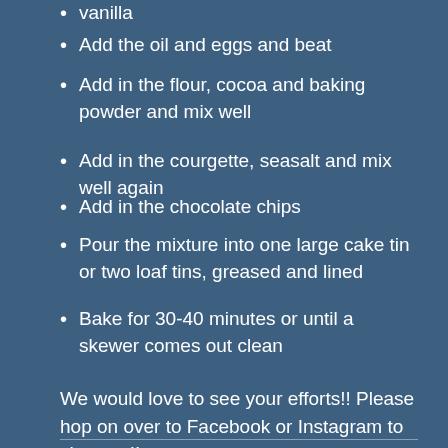vanilla
Add the oil and eggs and beat
Add in the flour, cocoa and baking powder and mix well
Add in the courgette, seasalt and mix well again
Add in the chocolate chips
Pour the mixture into one large cake tin or two loaf tins, greased and lined
Bake for 30-40 minutes or until a skewer comes out clean
We would love to see your efforts!! Please hop on over to Facebook or Instagram to show us!!